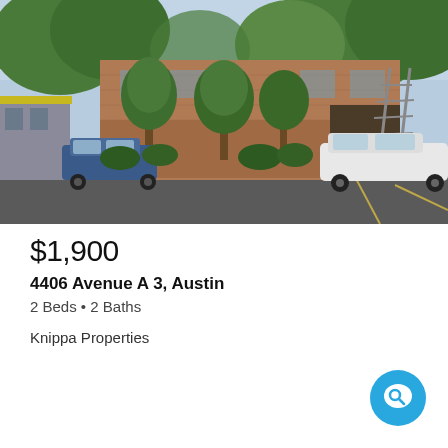[Figure (photo): Exterior photo of a two-story brick apartment building with trees, a parking lot in the foreground, a blue car parked on the left, a white SUV on the right, and an exterior staircase visible on the right side of the building.]
$1,900
4406 Avenue A 3, Austin
2 Beds • 2 Baths
Knippa Properties